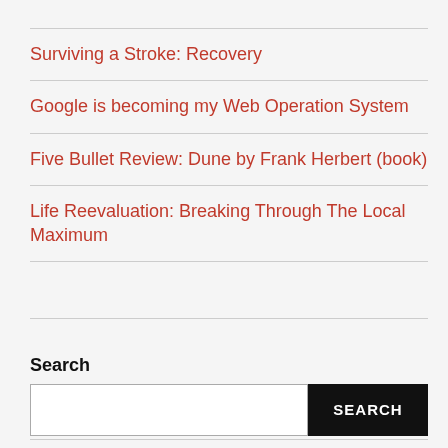Surviving a Stroke: Recovery
Google is becoming my Web Operation System
Five Bullet Review: Dune by Frank Herbert (book)
Life Reevaluation: Breaking Through The Local Maximum
Search